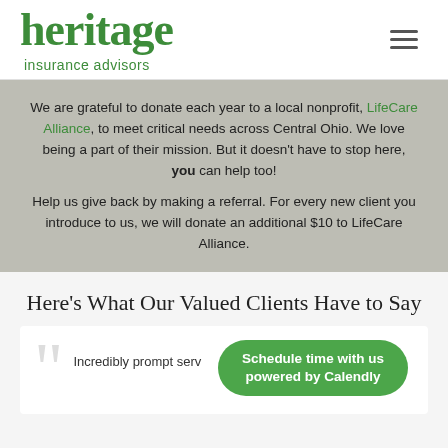[Figure (logo): Heritage Insurance Advisors logo with green serif text and hamburger menu icon]
We are grateful to donate each year to a local nonprofit, LifeCare Alliance, to meet critical needs across Central Ohio. We love being a part of their mission. But it doesn't have to stop here, you can help too!
Help us give back by making a referral. For every new client you introduce to us, we will donate an additional $10 to LifeCare Alliance.
Here's What Our Valued Clients Have to Say
Incredibly prompt serv...
[Figure (other): Schedule time with us powered by Calendly green button]